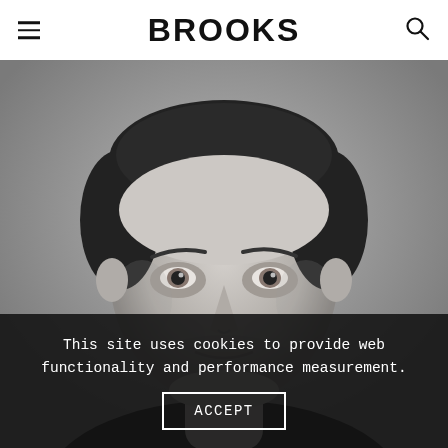BROOKS
[Figure (photo): Black and white portrait photo of a man with dark hair, stubble, and intense expression, looking directly at the camera against a grey background.]
This site uses cookies to provide web functionality and performance measurement.
ACCEPT